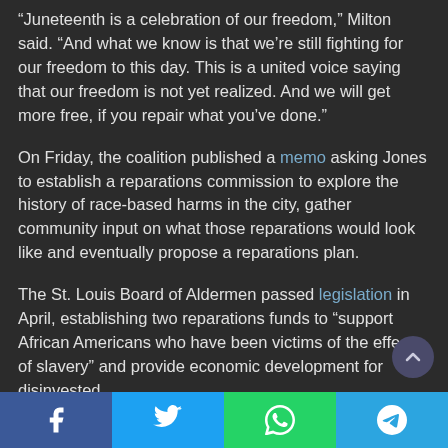“Juneteenth is a celebration of our freedom,” Milton said. “And what we know is that we’re still fighting for our freedom to this day. This is a united voice saying that our freedom is not yet realized. And we will get more free, if you repair what you’ve done.”
On Friday, the coalition published a memo asking Jones to establish a reparations commission to explore the history of race-based harms in the city, gather community input on what those reparations would look like and eventually propose a reparations plan.
The St. Louis Board of Aldermen passed legislation in April, establishing two reparations funds to “support African Americans who have been victims of the effects of slavery” and provide economic development for disinvested